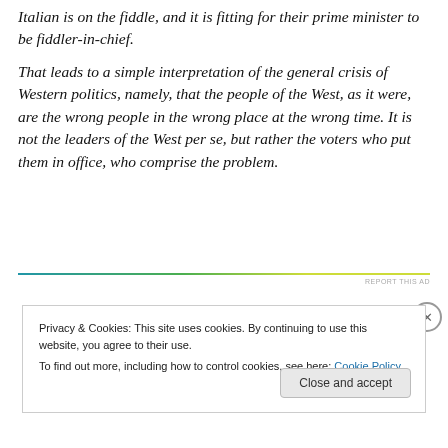Italian is on the fiddle, and it is fitting for their prime minister to be fiddler-in-chief.
That leads to a simple interpretation of the general crisis of Western politics, namely, that the people of the West, as it were, are the wrong people in the wrong place at the wrong time. It is not the leaders of the West per se, but rather the voters who put them in office, who comprise the problem.
[Figure (other): Horizontal gradient divider line for advertisement separator, with 'REPORT THIS AD' text label on the right]
Privacy & Cookies: This site uses cookies. By continuing to use this website, you agree to their use.
To find out more, including how to control cookies, see here: Cookie Policy
Close and accept